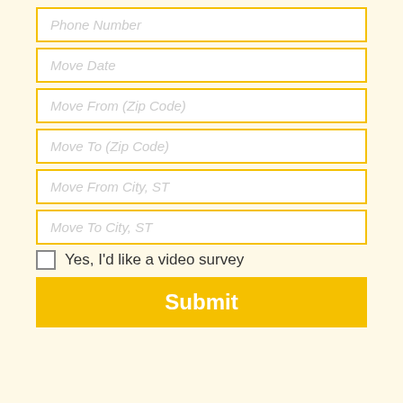Phone Number
Move Date
Move From (Zip Code)
Move To (Zip Code)
Move From City, ST
Move To City, ST
Yes, I'd like a video survey
Submit